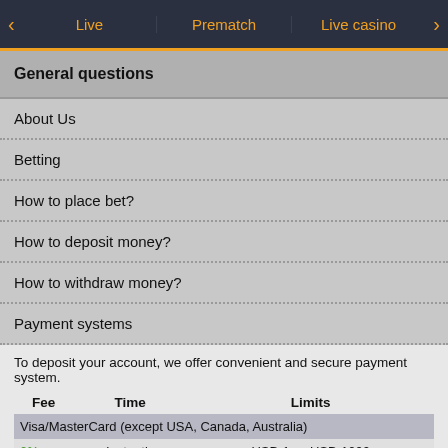Live | Prematch | Live casino
General questions
About Us
Betting
How to place bet?
How to deposit money?
How to withdraw money?
Payment systems
To deposit your account, we offer convenient and secure payment system.
| Fee | Time | Limits |
| --- | --- | --- |
| Visa/MasterCard (except USA, Canada, Australia) |  |  |
| 0% | Instantly | USD 1 — USD 1000 |
| ecoPayz |  |  |